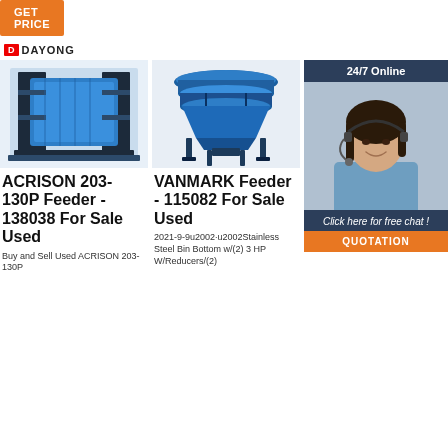[Figure (other): Orange 'Get Price' button in top-left corner]
[Figure (logo): DAYONG logo with red D icon]
[Figure (photo): Blue industrial ACRISON 203-130P Feeder machine photo]
ACRISON 203-130P Feeder - 138038 For Sale Used
Buy and Sell Used ACRISON 203-130P
[Figure (photo): Blue VANMARK Feeder industrial machine photo]
VANMARK Feeder - 115082 For Sale Used
2021-9-9u2002·u2002Stainless Steel Bin Bottom w/(2) 3 HP W/Reducers/(2)
[Figure (photo): Steam boiler top view photo partially covered by overlay]
St Bo Sa
[Figure (other): 24/7 Online overlay panel with agent photo, Click here for free chat, and QUOTATION button]
Steam Boiler Room. For sale - salto steam boiler and b...Pi believe it may be a b3 boiler, burner (satb3)